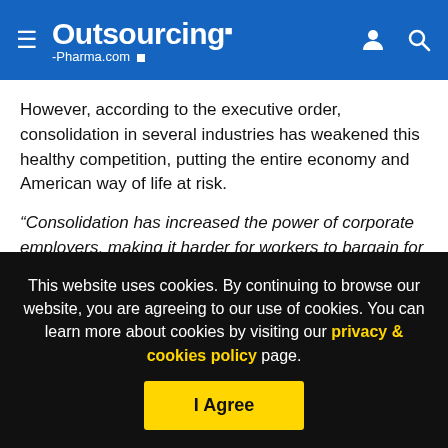Outsourcing-Pharma.com
However, according to the executive order, consolidation in several industries has weakened this healthy competition, putting the entire economy and American way of life at risk.
“Consolidation has increased the power of corporate employers, making it harder for workers to bargain for higher wages and better work conditions,” he wrote in the order. “Powerful companies require workers to sign non-compete agreements that...
This website uses cookies. By continuing to browse our website, you are agreeing to our use of cookies. You can learn more about cookies by visiting our privacy & cookies policy page.